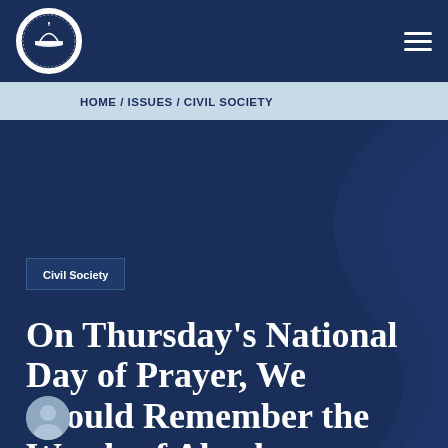[Figure (logo): Family Research Council circular logo with Capitol building image and text 'FAMILY RESEARCH COUNCIL SINCE 1983']
HOME / ISSUES / CIVIL SOCIETY
Civil Society
On Thursday's National Day of Prayer, We Should Remember the Words of Abraham Lincoln